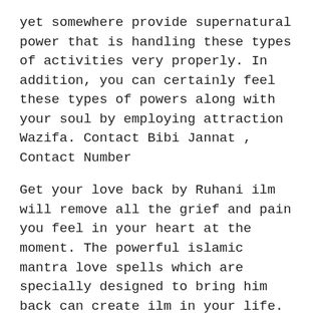yet somewhere provide supernatural power that is handling these types of activities very properly. In addition, you can certainly feel these types of powers along with your soul by employing attraction Wazifa. Contact Bibi Jannat , Contact Number
Get your love back by Ruhani ilm will remove all the grief and pain you feel in your heart at the moment. The powerful islamic mantra love spells which are specially designed to bring him back can create ilm in your life. These voodoo spells for him will bring your desired love partner back in life. This time your partner will primarily concentrate and focus on making this relationship worthwhile and healthy in all aspects. Clap is never made single handedly and your love relation will surely get the support of both the partners to make it reach its